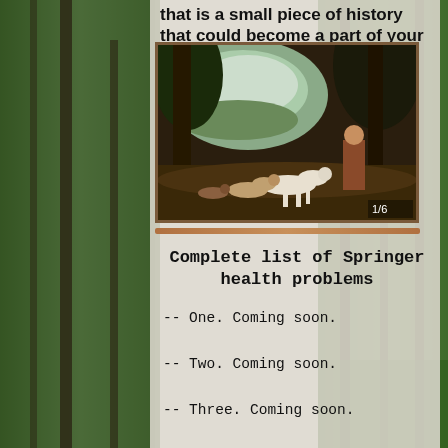that is a small piece of history that could become a part of your tomorrow.
[Figure (illustration): Classical oil painting of a hunting scene with dogs and a hunter in a woodland landscape. Image indicator shows 1/6 in bottom right corner.]
Complete list of Springer health problems
-- One.  Coming soon.
-- Two.  Coming soon.
-- Three.  Coming soon.